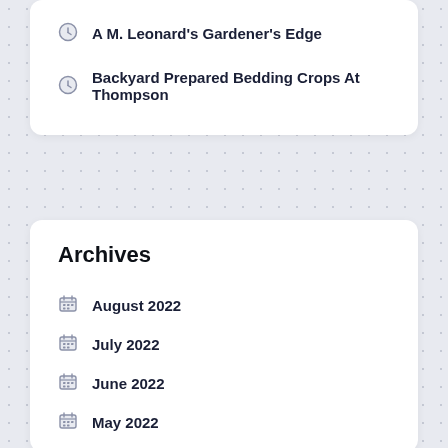A M. Leonard's Gardener's Edge
Backyard Prepared Bedding Crops At Thompson
Archives
August 2022
July 2022
June 2022
May 2022
April 2022
March 2022
February 2022